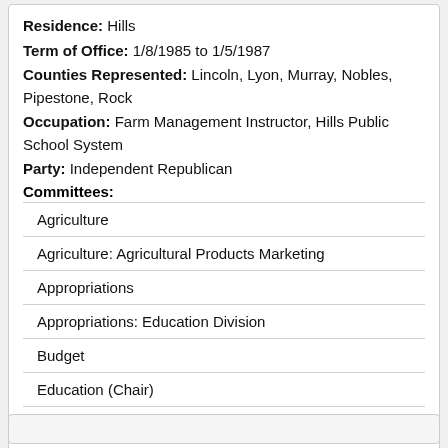Residence: Hills
Term of Office: 1/8/1985 to 1/5/1987
Counties Represented: Lincoln, Lyon, Murray, Nobles, Pipestone, Rock
Occupation: Farm Management Instructor, Hills Public School System
Party: Independent Republican
Committees:
Agriculture
Agriculture: Agricultural Products Marketing
Appropriations
Appropriations: Education Division
Budget
Education (Chair)
Education: Education Finance Division
Education: Higher Education Division
Transportation
Transportation: Special Subcommittee on Department of Public Safety